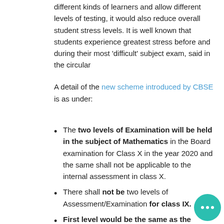different kinds of learners and allow different levels of testing, it would also reduce overall student stress levels. It is well known that students experience greatest stress before and during their most 'difficult' subject exam, said in the circular
A detail of the new scheme introduced by CBSE is as under:
The two levels of Examination will be held in the subject of Mathematics in the Board examination for Class X in the year 2020 and the same shall not be applicable to the internal assessment in class X.
There shall not be two levels of Assessment/Examination for class IX.
First level would be the same as the existing one